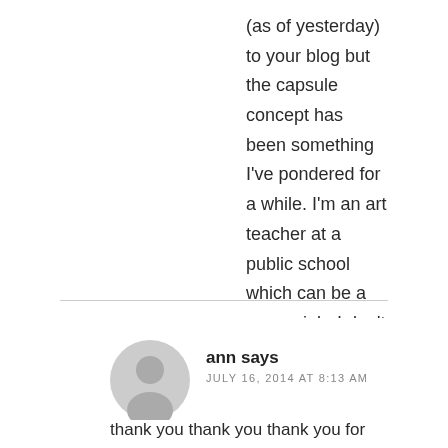(as of yesterday) to your blog but the capsule concept has been something I've pondered for a while. I'm an art teacher at a public school which can be a messy job. I don't like to wear my non-work clothes to work and vice versa. I still want to feel like myself at school but not in my regular clothes. It's a constant battle.
REPLY
ann says
JULY 16, 2014 AT 8:13 AM
thank you thank you thank you for sharing this tip!!! now it makes sense to me. i'm going to go tackle the